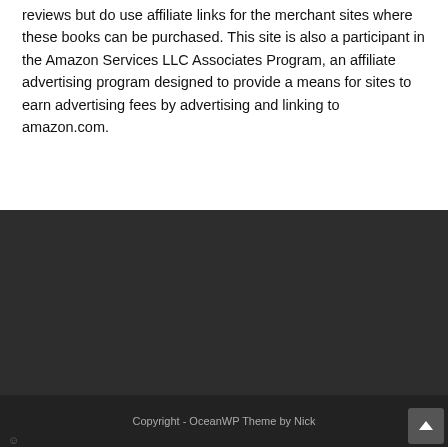reviews but do use affiliate links for the merchant sites where these books can be purchased. This site is also a participant in the Amazon Services LLC Associates Program, an affiliate advertising program designed to provide a means for sites to earn advertising fees by advertising and linking to amazon.com.
Copyright - OceanWP Theme by Nick